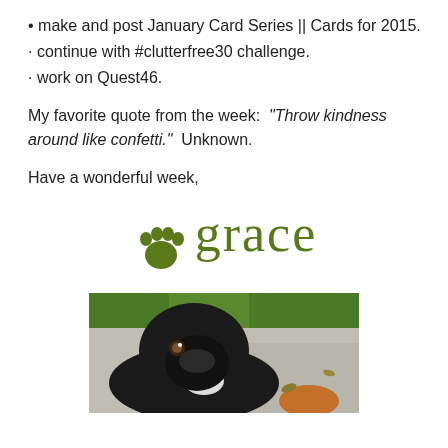make and post January Card Series || Cards for 2015.
continue with #clutterfree30 challenge.
work on Quest46.
My favorite quote from the week: “Throw kindness around like confetti.”  Unknown.
Have a wonderful week,
[Figure (illustration): Stylized signature reading 'grace' in olive/green text with a paw print icon to the left]
[Figure (photo): Photo of a black dog looking up at the camera, outdoors on pavement with grass visible in background]